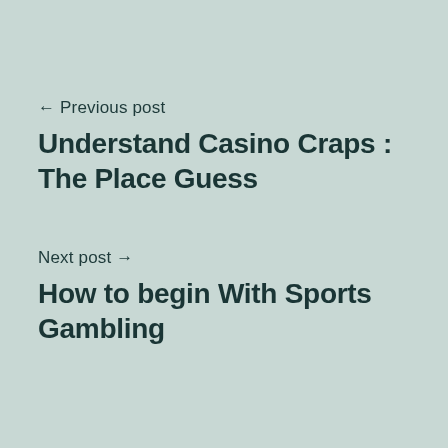← Previous post
Understand Casino Craps : The Place Guess
Next post →
How to begin With Sports Gambling